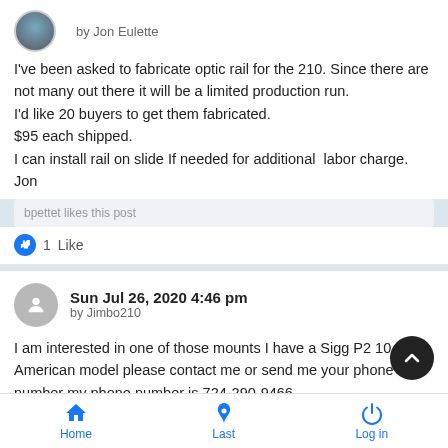by Jon Eulette
I've been asked to fabricate optic rail for the 210. Since there are not many out there it will be a limited production run.
I'd like 20 buyers to get them fabricated.
$95 each shipped.
I can install rail on slide If needed for additional labor charge.
Jon
bpettet likes this post
1  Like
Sun Jul 26, 2020 4:46 pm
by Jimbo210
I am interested in one of those mounts I have a Sigg P2 10 American model please contact me or send me your phone number my phone number is 724-290-9466
Home  Last  Log in